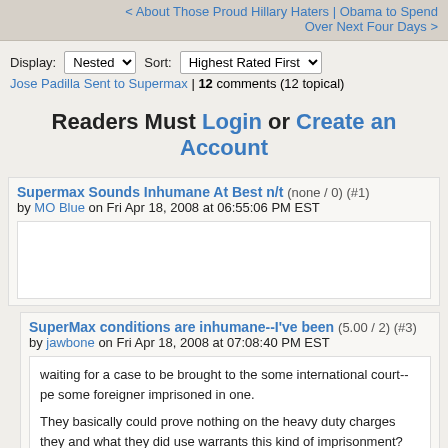< About Those Proud Hillary Haters | Obama to Spend Over Next Four Days >
Display: Nested  Sort: Highest Rated First
Jose Padilla Sent to Supermax | 12 comments (12 topical)
Readers Must Login or Create an Account
Supermax Sounds Inhumane At Best n/t (none / 0) (#1)
by MO Blue on Fri Apr 18, 2008 at 06:55:06 PM EST
SuperMax conditions are inhumane--I've been (5.00 / 2) (#3)
by jawbone on Fri Apr 18, 2008 at 07:08:40 PM EST
waiting for a case to be brought to the some international court--pe some foreigner imprisoned in one.

They basically could prove nothing on the heavy duty charges they and what they did use warrants this kind of imprisonment?

Or is it to make sure he never gets to talk to someone who might th

We can be an extremely cruel nation.
Parent